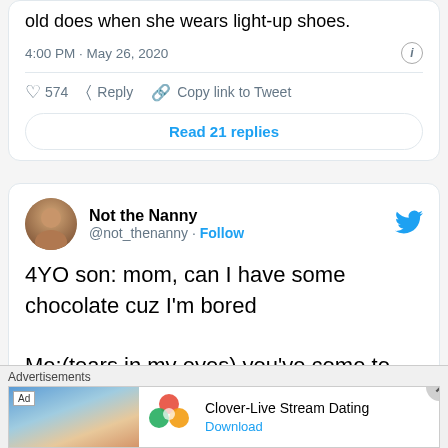old does when she wears light-up shoes.
4:00 PM · May 26, 2020
♡ 574   Reply   Copy link to Tweet
Read 21 replies
Not the Nanny @not_thenanny · Follow
4YO son: mom, can I have some chocolate cuz I'm bored

Me:(tears in my eyes) you've come to the right parent
5:10 PM · May 28, 2020
Advertisements
Ad  Clover-Live Stream Dating  Download